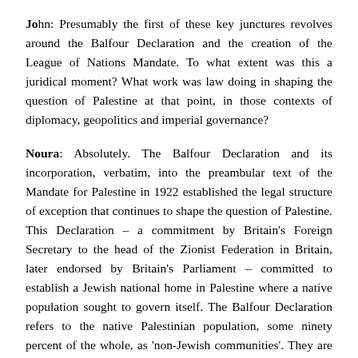John: Presumably the first of these key junctures revolves around the Balfour Declaration and the creation of the League of Nations Mandate. To what extent was this a juridical moment? What work was law doing in shaping the question of Palestine at that point, in those contexts of diplomacy, geopolitics and imperial governance?
Noura: Absolutely. The Balfour Declaration and its incorporation, verbatim, into the preambular text of the Mandate for Palestine in 1922 established the legal structure of exception that continues to shape the question of Palestine. This Declaration – a commitment by Britain's Foreign Secretary to the head of the Zionist Federation in Britain, later endorsed by Britain's Parliament – committed to establish a Jewish national home in Palestine where a native population sought to govern itself. The Balfour Declaration refers to the native Palestinian population, some ninety percent of the whole, as 'non-Jewish communities'. They are not recognized